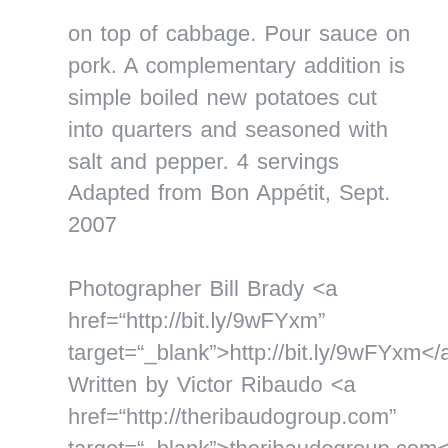on top of cabbage. Pour sauce on pork. A complementary addition is simple boiled new potatoes cut into quarters and seasoned with salt and pepper. 4 servings
Adapted from Bon Appétit, Sept. 2007

Photographer Bill Brady <a href="http://bit.ly/9wFYxm" target="_blank">http://bit.ly/9wFYxm</a> Written by Victor Ribaudo <a href="http://theribaudogroup.com" target="_blank">theribaudogroup.com</a> theribaudogroup.comRecipe Provided by Phyllis Kirigin, aka sweetpaprika <a href="http://sweetpaprika.wordpress.com"